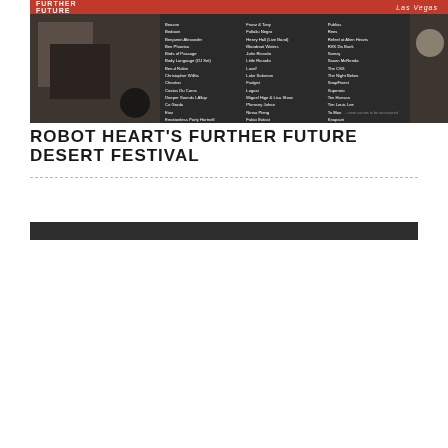[Figure (photo): Further Future desert festival promotional image with lineup names in columns on dark background, red top bar with 'FURTHER FUTURE' logo and 'Las Vegas' text, abstract geometric art on left side]
ROBOT HEART'S FURTHER FUTURE DESERT FESTIVAL
[Figure (other): Dark horizontal bar/banner]